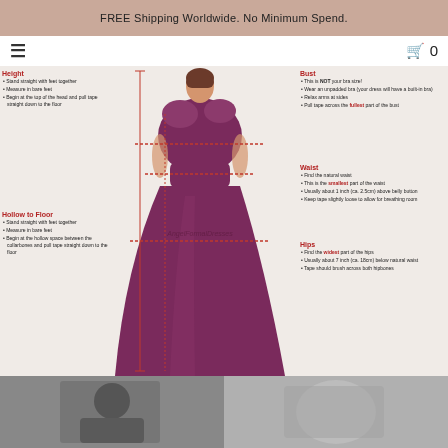FREE Shipping Worldwide. No Minimum Spend.
[Figure (infographic): Dress sizing measurement guide showing a woman in a purple formal gown with annotations for Height, Bust, Waist, Hollow to Floor, and Hips measurements with bullet point instructions for each. Branded with AngelFormalDresses watermark.]
[Figure (photo): Two partially visible photos at the bottom of the page showing black and white images, likely of formal wear or wedding scenes.]